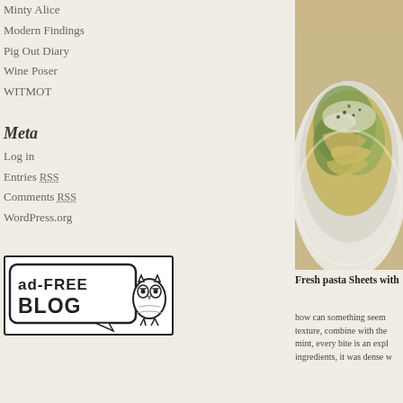Minty Alice
Modern Findings
Pig Out Diary
Wine Poser
WITMOT
Meta
Log in
Entries RSS
Comments RSS
WordPress.org
[Figure (logo): Ad-Free Blog badge with owl illustration]
[Figure (photo): A bowl of fresh pasta sheets with green vegetables, herbs and grated cheese]
Fresh pasta Sheets with
how can something seem texture, combine with the mint, every bite is an expl ingredients, it was dense w